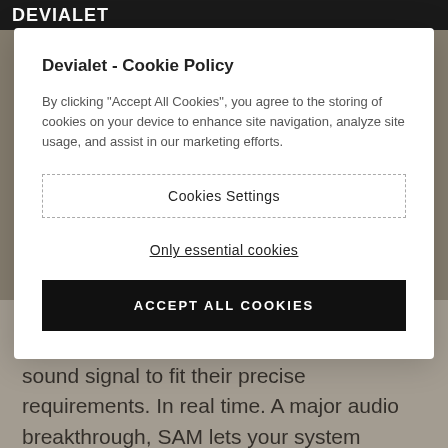Devialet - Cookie Policy
By clicking “Accept All Cookies”, you agree to the storing of cookies on your device to enhance site navigation, analyze site usage, and assist in our marketing efforts.
Cookies Settings
Only essential cookies
ACCEPT ALL COOKIES
recognizing the exact specs of your speakers. So Expert Pro can tailor the sound signal to fit their precise requirements. In real time. A major audio breakthrough, SAM lets your system achieve perfect temporal alignment between the